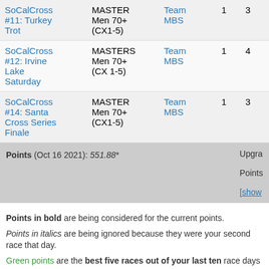| Event | Category | Team |  |  |
| --- | --- | --- | --- | --- |
| SoCalCross #11: Turkey Trot | MASTER Men 70+ (CX1-5) | Team MBS | 1 | 3 |
| SoCalCross #12: Irvine Lake Saturday | MASTERS Men 70+ (CX 1-5) | Team MBS | 1 | 4 |
| SoCalCross #14: Santa Cross Series Finale | MASTER Men 70+ (CX1-5) | Team MBS | 1 | 3 |
Points (Oct 16 2021): 551.88*    Upgrade Points [show]
Points in bold are being considered for the current points.
Points in italics are being ignored because they were your second race that day.
Green points are the best five races out of your last ten race days